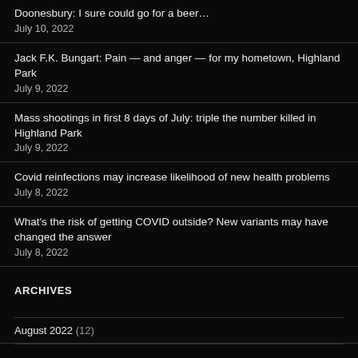Doonesbury: I sure could go for a beer…
July 10, 2022
Jack F.K. Bungart: Pain — and anger — for my hometown, Highland Park
July 9, 2022
Mass shootings in first 8 days of July: triple the number killed in Highland Park
July 9, 2022
Covid reinfections may increase likelihood of new health problems
July 8, 2022
What's the risk of getting COVID outside? New variants may have changed the answer
July 8, 2022
ARCHIVES
August 2022 (12)